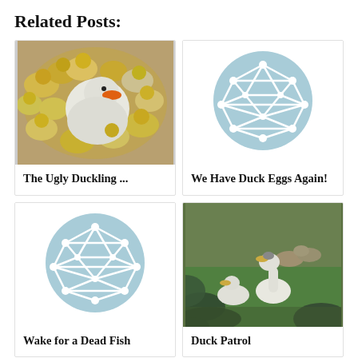Related Posts:
[Figure (photo): Photo of a white duck with an orange beak surrounded by many yellow ducklings in a basket or pen]
The Ugly Duckling ...
[Figure (illustration): Placeholder icon: light blue circle with white geometric network/icosahedron outline]
We Have Duck Eggs Again!
[Figure (illustration): Placeholder icon: light blue circle with white geometric network/icosahedron outline]
Wake for a Dead Fish
[Figure (photo): Photo of white ducks on grass with green foliage in foreground]
Duck Patrol